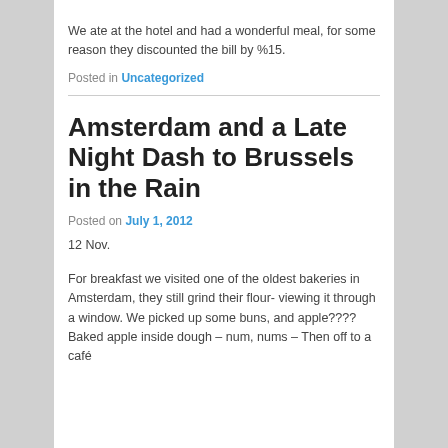We ate at the hotel and had a wonderful meal, for some reason they discounted the bill by %15.
Posted in Uncategorized
Amsterdam and a Late Night Dash to Brussels in the Rain
Posted on July 1, 2012
12 Nov.
For breakfast we visited one of the oldest bakeries in Amsterdam, they still grind their flour- viewing it through a window. We picked up some buns, and apple???? Baked apple inside dough – num, nums – Then off to a café